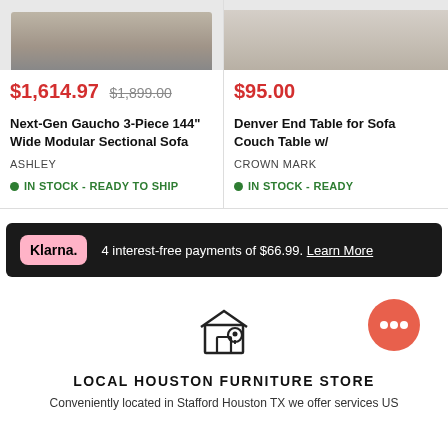$1,614.97  $1,899.00
Next-Gen Gaucho 3-Piece 144" Wide Modular Sectional Sofa
ASHLEY
IN STOCK - READY TO SHIP
$95.00
Denver End Table for Sofa Couch Table w/
CROWN MARK
IN STOCK - READY
4 interest-free payments of $66.99. Learn More
[Figure (logo): Klarna logo - pink rounded rectangle with 'Klarna.' text]
[Figure (illustration): Store location pin icon - outline of a shop with a location marker]
[Figure (illustration): Chat bubble icon - salmon/coral colored circle chat bubble]
LOCAL HOUSTON FURNITURE STORE
Conveniently located in Stafford Houston TX we offer services US